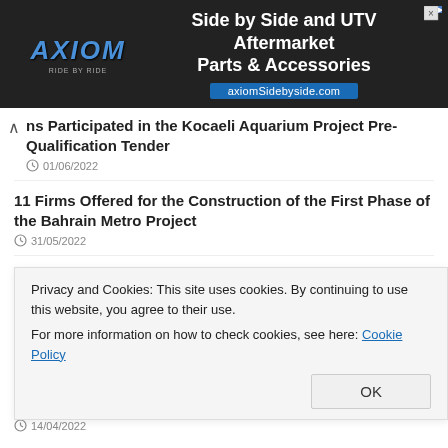[Figure (other): Axiom Side by Side advertisement banner with logo and text 'Side by Side and UTV Aftermarket Parts & Accessories' and URL axiomSidebyside.com]
ns Participated in the Kocaeli Aquarium Project Pre-Qualification Tender
01/06/2022
11 Firms Offered for the Construction of the First Phase of the Bahrain Metro Project
31/05/2022
Ispartakule Çerkezköy Bids Collected in the Tender of the Railway Line Construction Work
22/04/2022
Gölcük Bus Terminal Construction Tender Results
Privacy and Cookies: This site uses cookies. By continuing to use this website, you agree to their use.
For more information on how to check cookies, see here: Cookie Policy
14/04/2022